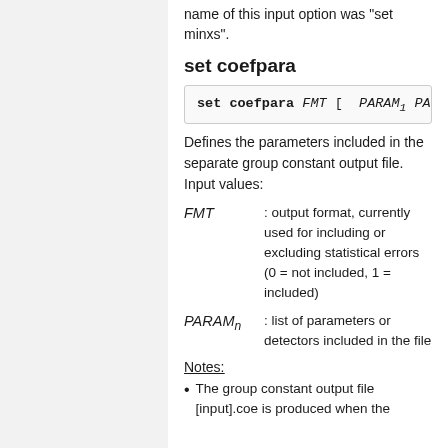name of this input option was "set minxs".
set coefpara
Defines the parameters included in the separate group constant output file. Input values:
FMT : output format, currently used for including or excluding statistical errors (0 = not included, 1 = included)
PARAMn : list of parameters or detectors included in the file
Notes:
The group constant output file [input].coe is produced when the